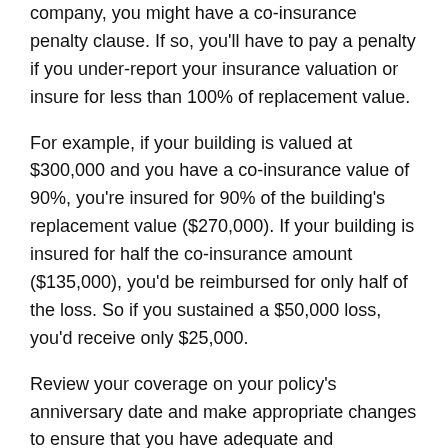company, you might have a co-insurance penalty clause. If so, you'll have to pay a penalty if you under-report your insurance valuation or insure for less than 100% of replacement value.
For example, if your building is valued at $300,000 and you have a co-insurance value of 90%, you're insured for 90% of the building's replacement value ($270,000). If your building is insured for half the co-insurance amount ($135,000), you'd be reimbursed for only half of the loss. So if you sustained a $50,000 loss, you'd receive only $25,000.
Review your coverage on your policy's anniversary date and make appropriate changes to ensure that you have adequate and appropriate levels of coverage.
In addition to basic business property insurance, you might want to consider adding a building ordinance or law endorsement. In the event of a major loss, you'd be paid for the cost of repairing or replacing damaged or destroyed property to meet the current